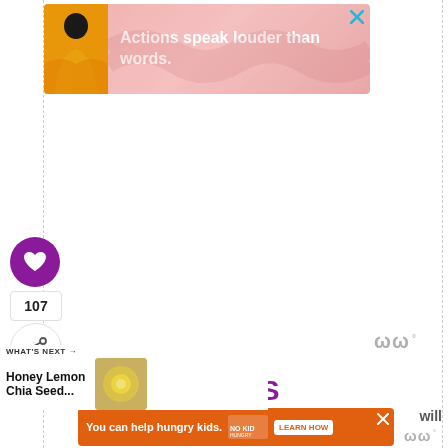[Figure (screenshot): Top advertisement banner with pink/salmon background, silhouette of a person in yellow jacket on the left, white bold text reading 'Actions speak louder than words.' with a blue X close button]
[Figure (screenshot): Purple circular heart/favorite button with white heart icon]
107
[Figure (screenshot): Share button with share icon]
[Figure (logo): Whisk watermark logo in gray]
WHAT'S NEXT →
Honey Lemon Chia Seed...
[Figure (photo): Thumbnail of Honey Lemon Chia Seed recipe]
RECIPE NOTES
[Figure (screenshot): Bottom advertisement banner with orange background, text 'You can help hungry kids.' with No Kid Hungry logo and LEARN HOW button, X close button]